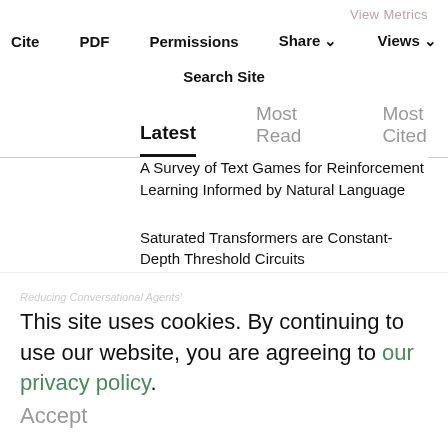View Metrics
Cite  PDF  Permissions  Share  Views
Search Site
Latest  Most Read  Most Cited
A Survey of Text Games for Reinforcement Learning Informed by Natural Language
Saturated Transformers are Constant-Depth Threshold Circuits
Generate, Annotate, and Learn: NLP with Synthetic Text
Reducing Conversational Agents'
This site uses cookies. By continuing to use our website, you are agreeing to our privacy policy. Accept